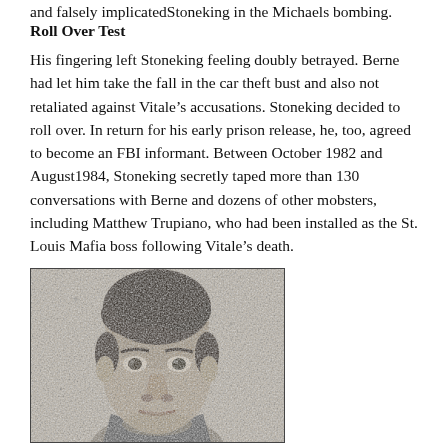and falsely implicatedStoneking in the Michaels bombing.
Roll Over Test
His fingering left Stoneking feeling doubly betrayed. Berne had let him take the fall in the car theft bust and also not retaliated against Vitale’s accusations. Stoneking decided to roll over. In return for his early prison release, he, too, agreed to become an FBI informant. Between October 1982 and August1984, Stoneking secretly taped more than 130 conversations with Berne and dozens of other mobsters, including Matthew Trupiano, who had been installed as the St. Louis Mafia boss following Vitale’s death.
[Figure (photo): Black and white portrait photo of a young man with dark curly hair, facing the camera.]